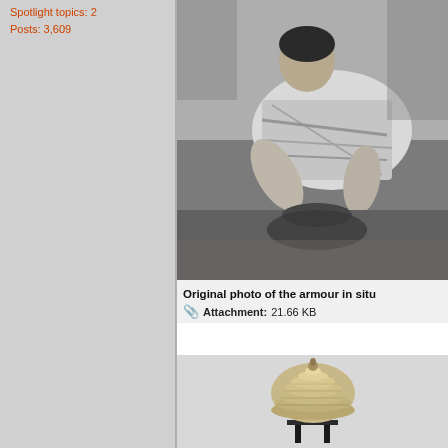Spotlight topics: 2
Posts: 3,609
[Figure (photo): Black and white photograph of an archaeologist or person crouching over an excavation site, examining armour in situ on the ground]
Original photo of the armour in situ
Attachment: 21.66 KB
[Figure (photo): Black and white photograph of a small model or artifact shaped like a domed/thatched hat or helmet on a stand]